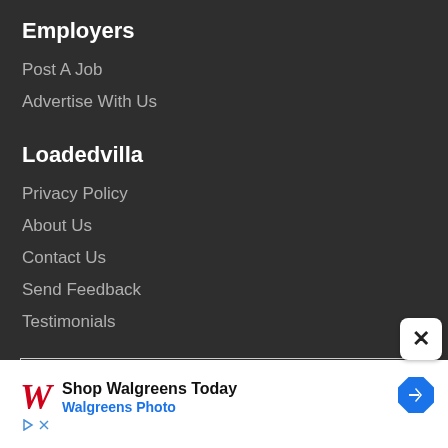Employers
Post A Job
Advertise With Us
Loadedvilla
Privacy Policy
About Us
Contact Us
Send Feedback
Testimonials
[Figure (screenshot): Walgreens advertisement banner: Shop Walgreens Today / Walgreens Photo with Walgreens W logo and blue diamond arrow icon]